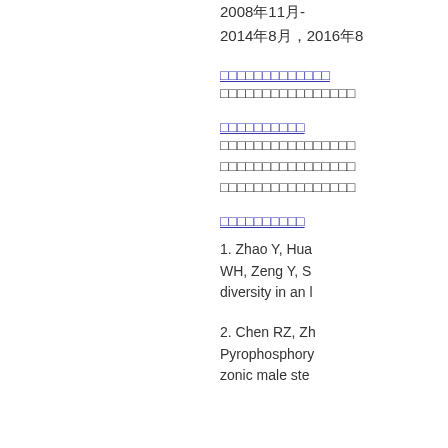2008年11月- 2014年8月，2016年8月
（中文链接文字）
（中文正文段落）
（中文链接文字）
（中文正文段落，多行）
（中文链接文字）
1. Zhao Y, Hua... WH, Zeng Y, S... diversity in an l...
2. Chen RZ, Zh... Pyrophosphory... zonic male ste...